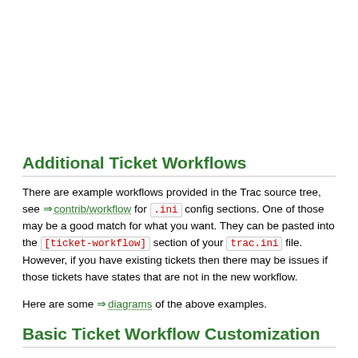Additional Ticket Workflows
There are example workflows provided in the Trac source tree, see contrib/workflow for .ini config sections. One of those may be a good match for what you want. They can be pasted into the [ticket-workflow] section of your trac.ini file. However, if you have existing tickets then there may be issues if those tickets have states that are not in the new workflow.
Here are some diagrams of the above examples.
Basic Ticket Workflow Customization
Note: Ticket "statuses" or "states" are not separately defined. The states a ticket can be in are automatically generated by the transition defined in the workflow. The Angers are there was stated